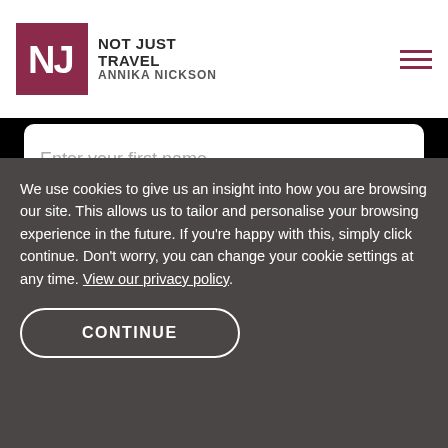[Figure (logo): Not Just Travel - Annika Nickson logo with burgundy NJ monogram box]
Enter your first name
Enter your surname
Enter your email address
We use cookies to give us an insight into how you are browsing our site. This allows us to tailor and personalise your browsing experience in the future. If you're happy with this, simply click continue. Don't worry, you can change your cookie settings at any time. View our privacy policy.
CONTINUE